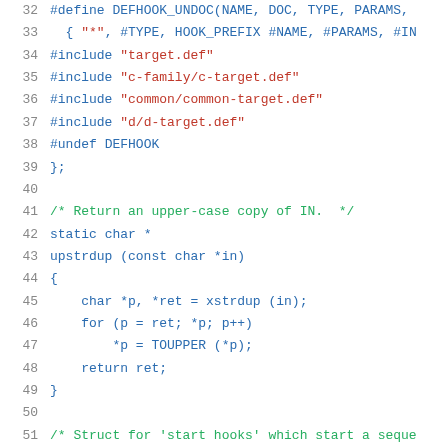[Figure (screenshot): Source code listing in C showing lines 32-52, with syntax highlighting. Line numbers in gray on left, C preprocessor directives in blue, string literals in red, comments in green, and code in blue.]